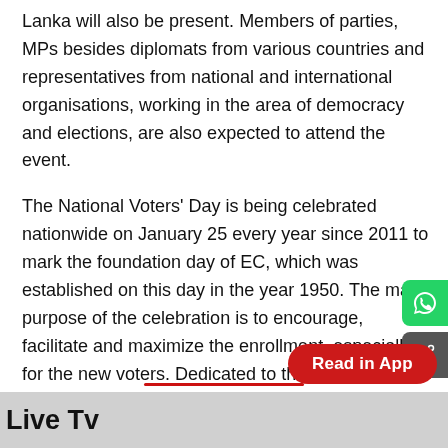Lanka will also be present. Members of parties, MPs besides diplomats from various countries and representatives from national and international organisations, working in the area of democracy and elections, are also expected to attend the event.
The National Voters' Day is being celebrated nationwide on January 25 every year since 2011 to mark the foundation day of EC, which was established on this day in the year 1950. The main purpose of the celebration is to encourage, facilitate and maximize the enrollment, especially for the new voters. Dedicated to the voters of the country, the day is utilised to spread awareness among promoting informed participation in the electoral process.
Live Tv